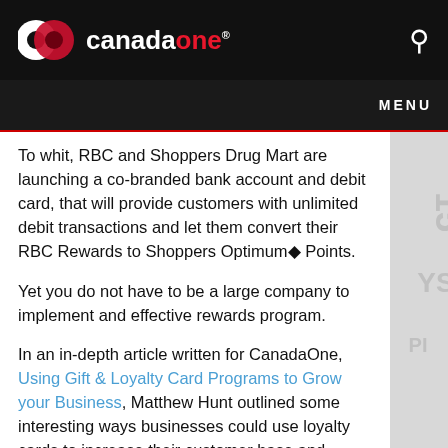canadaone
To whit, RBC and Shoppers Drug Mart are launching a co-branded bank account and debit card, that will provide customers with unlimited debit transactions and let them convert their RBC Rewards to Shoppers Optimum◆ Points.
Yet you do not have to be a large company to implement and effective rewards program.
In an in-depth article written for CanadaOne, Using Gift & Loyalty Card Programs to Grow your Business, Matthew Hunt outlined some interesting ways businesses could use loyalty cards to increase their customer base and maintain existing customers.